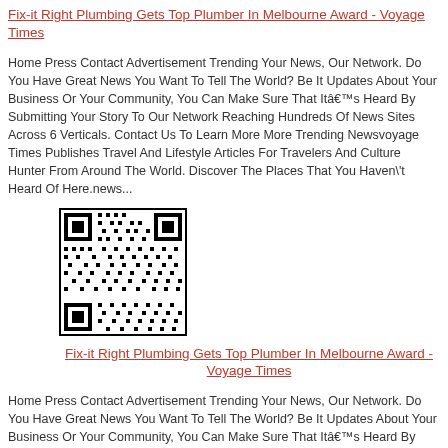Fix-it Right Plumbing Gets Top Plumber In Melbourne Award - Voyage Times
Home Press Contact Advertisement Trending Your News, Our Network. Do You Have Great News You Want To Tell The World? Be It Updates About Your Business Or Your Community, You Can Make Sure That Itâ€™s Heard By Submitting Your Story To Our Network Reaching Hundreds Of News Sites Across 6 Verticals. Contact Us To Learn More More Trending Newsvoyage Times Publishes Travel And Lifestyle Articles For Travelers And Culture Hunter From Around The World. Discover The Places That You Haven\'t Heard Of Here.news...
[Figure (other): QR code image]
Fix-it Right Plumbing Gets Top Plumber In Melbourne Award - Voyage Times
Home Press Contact Advertisement Trending Your News, Our Network. Do You Have Great News You Want To Tell The World? Be It Updates About Your Business Or Your Community, You Can Make Sure That Itâ€™s Heard By Submitting Your Story To Our Network Reaching Hundreds Of News Sites Across 6 Verticals. Contact Us To Learn More More Trending Newsvoyage Times Publishes Travel And Lifestyle Articles For Travelers And Culture Hunter From Around The World. Discover The Places That You Haven\'t Heard Of Here.news...
[Figure (other): QR code image (partial, bottom of page)]